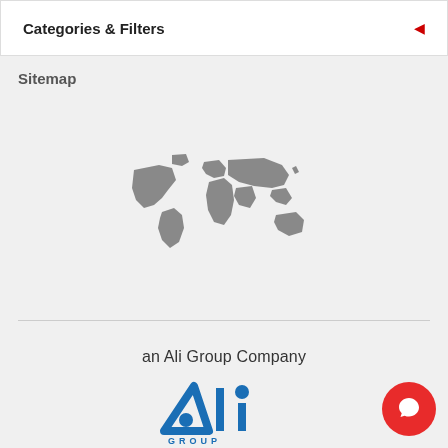Categories & Filters
Sitemap
[Figure (map): World map silhouette in gray showing all continents]
[Figure (logo): Ali Group logo with triangle and circle letters ALI and GROUP text below in blue]
an Ali Group Company
The Spirit of Excellence